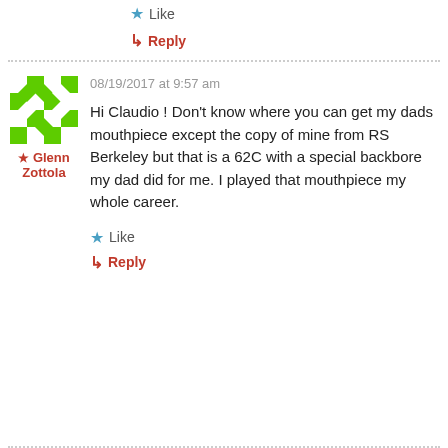one....where can I get it?
★ Like
↳ Reply
08/19/2017 at 9:57 am
★ Glenn Zottola
Hi Claudio ! Don't know where you can get my dads mouthpiece except the copy of mine from RS Berkeley but that is a 62C with a special backbore my dad did for me. I played that mouthpiece my whole career.
★ Like
↳ Reply